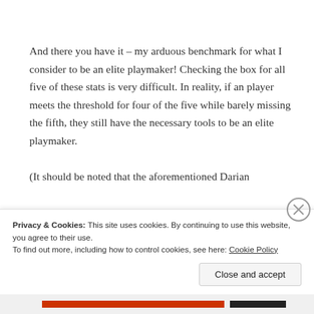And there you have it – my arduous benchmark for what I consider to be an elite playmaker! Checking the box for all five of these stats is very difficult. In reality, if an player meets the threshold for four of the five while barely missing the fifth, they still have the necessary tools to be an elite playmaker.

(It should be noted that the aforementioned Darian
Privacy & Cookies: This site uses cookies. By continuing to use this website, you agree to their use.
To find out more, including how to control cookies, see here: Cookie Policy

Close and accept